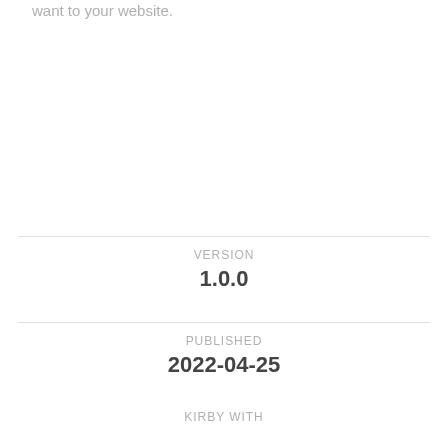want to your website.
VERSION
1.0.0
PUBLISHED
2022-04-25
KIRBY WITH